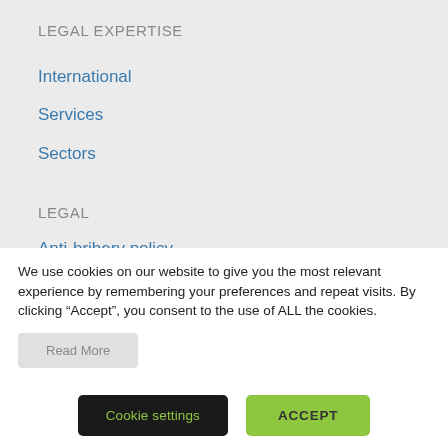LEGAL EXPERTISE
International
Services
Sectors
LEGAL
Anti-bribery policy
We use cookies on our website to give you the most relevant experience by remembering your preferences and repeat visits. By clicking “Accept”, you consent to the use of ALL the cookies.
Read More
Cookie settings
ACCEPT